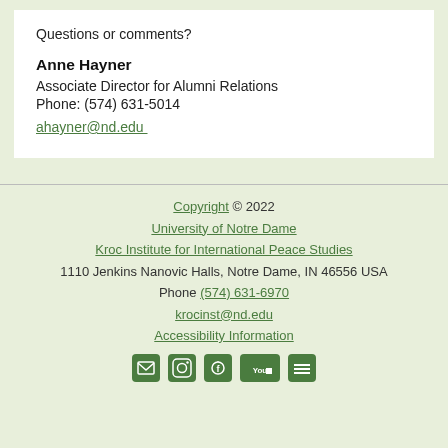Questions or comments?
Anne Hayner
Associate Director for Alumni Relations
Phone: (574) 631-5014
ahayner@nd.edu
Copyright © 2022
University of Notre Dame
Kroc Institute for International Peace Studies
1110 Jenkins Nanovic Halls, Notre Dame, IN 46556 USA
Phone (574) 631-6970
krocinst@nd.edu
Accessibility Information